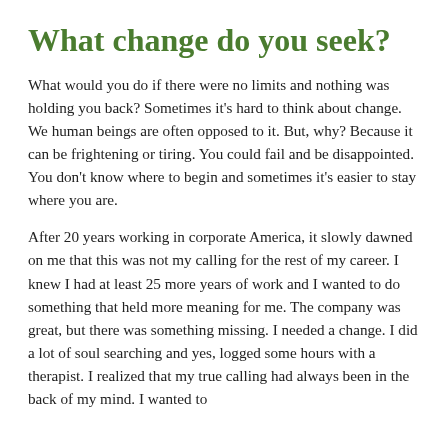What change do you seek?
What would you do if there were no limits and nothing was holding you back? Sometimes it's hard to think about change. We human beings are often opposed to it. But, why? Because it can be frightening or tiring. You could fail and be disappointed. You don't know where to begin and sometimes it's easier to stay where you are.
After 20 years working in corporate America, it slowly dawned on me that this was not my calling for the rest of my career. I knew I had at least 25 more years of work and I wanted to do something that held more meaning for me. The company was great, but there was something missing. I needed a change. I did a lot of soul searching and yes, logged some hours with a therapist. I realized that my true calling had always been in the back of my mind. I wanted to